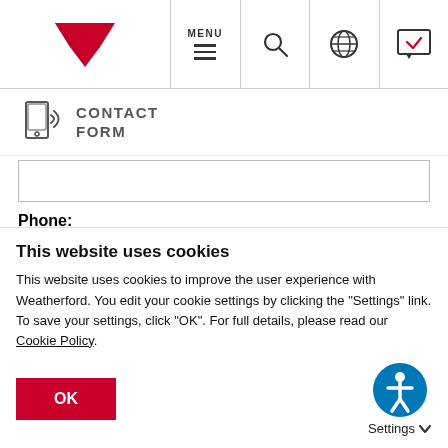[Figure (screenshot): Website navigation bar with logo (red heart/chevron icon), MENU with hamburger icon, search icon, globe icon, and chat/feedback icon]
[Figure (logo): Contact Form icon showing a mobile phone with signal waves and text CONTACT FORM]
Phone:
[Figure (screenshot): Empty text input box for Phone field]
Email: *
[Figure (screenshot): Empty text input box for Email field (partially visible)]
This website uses cookies
This website uses cookies to improve the user experience with Weatherford. You edit your cookie settings by clicking the "Settings" link. To save your settings, click "OK". For full details, please read our Cookie Policy.
OK
Settings